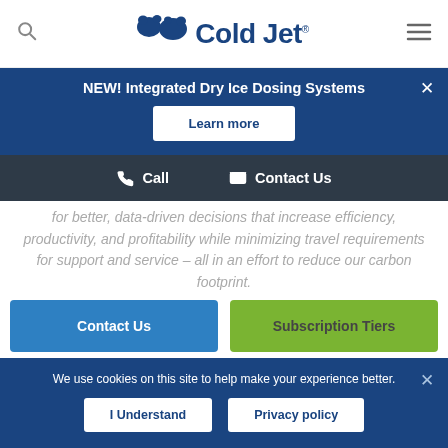Cold Jet
NEW! Integrated Dry Ice Dosing Systems
Learn more
Call   Contact Us
for better, data-driven decisions that increase efficiency, productivity, and profitability while minimizing travel requirements for support and service – all in an effort to reduce our carbon footprint.
Contact Us
Subscription Tiers
We use cookies on this site to help make your experience better.
I Understand
Privacy policy